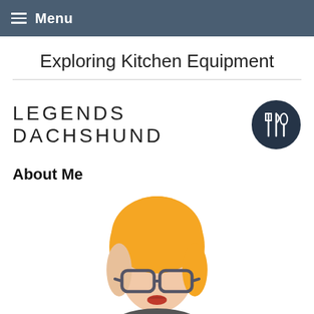Menu
Exploring Kitchen Equipment
[Figure (logo): Legends Dachshund logo with text and circular badge icon showing utensils]
About Me
[Figure (illustration): Illustrated avatar of a woman with short blonde hair, glasses, and red lips, shown from shoulders up]